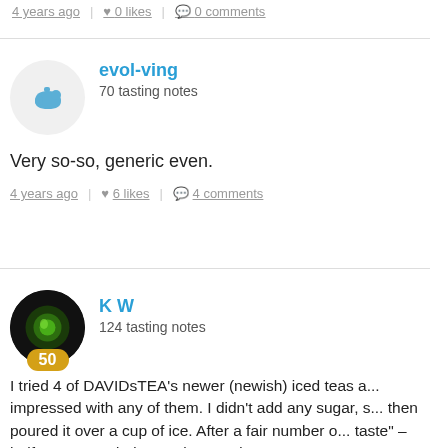4 years ago | 0 likes | 0 comments
evol-ving
70 tasting notes
Very so-so, generic even.
4 years ago | 6 likes | 4 comments
K W
124 tasting notes
I tried 4 of DAVIDsTEA's newer (newish) iced teas and wasn't impressed with any of them. I didn't add any sugar, s... then poured it over a cup of ice. After a fair number of... taste" – half my cup ended up as lemonade.
Flavors: Blackberry